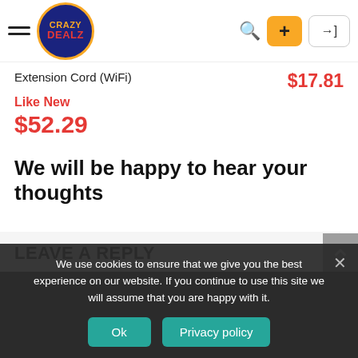Crazy Dealz — navigation header with hamburger menu, logo, search icon, plus button, login button
Extension Cord (WiFi)
$17.81
Like New
$52.29
We will be happy to hear your thoughts
LEAVE A REPLY
We use cookies to ensure that we give you the best experience on our website. If you continue to use this site we will assume that you are happy with it.
Ok
Privacy policy